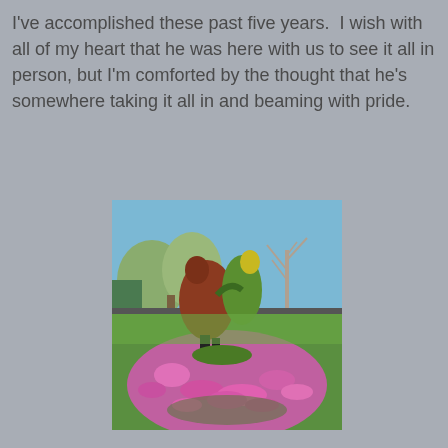I've accomplished these past five years.  I wish with all of my heart that he was here with us to see it all in person, but I'm comforted by the thought that he's somewhere taking it all in and beaming with pride.
[Figure (photo): Outdoor topiary sculpture of two dancing figures (one with reddish-brown foliage, one with green and yellow foliage) surrounded by bright pink/magenta flowers, with trees and a fence in the background under a blue sky.]